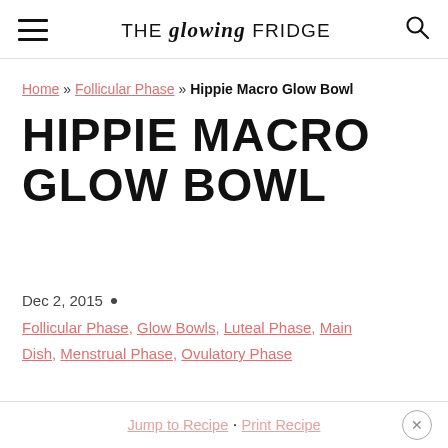THE glowing FRIDGE
Home » Follicular Phase » Hippie Macro Glow Bowl
HIPPIE MACRO GLOW BOWL
Dec 2, 2015 •
Follicular Phase, Glow Bowls, Luteal Phase, Main Dish, Menstrual Phase, Ovulatory Phase
Jump to Recipe · Print Recipe